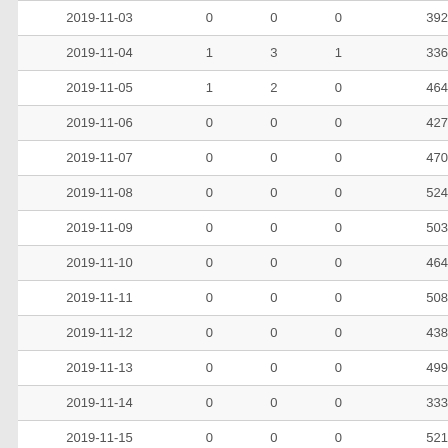| date | col2 | col3 | col4 | col5 |
| --- | --- | --- | --- | --- |
| 2019-11-03 | 0 | 0 | 0 | 392 |
| 2019-11-04 | 1 | 3 | 1 | 336 |
| 2019-11-05 | 1 | 2 | 0 | 464 |
| 2019-11-06 | 0 | 0 | 0 | 427 |
| 2019-11-07 | 0 | 0 | 0 | 470 |
| 2019-11-08 | 0 | 0 | 0 | 524 |
| 2019-11-09 | 0 | 0 | 0 | 503 |
| 2019-11-10 | 0 | 0 | 0 | 464 |
| 2019-11-11 | 0 | 0 | 0 | 508 |
| 2019-11-12 | 0 | 0 | 0 | 438 |
| 2019-11-13 | 0 | 0 | 0 | 499 |
| 2019-11-14 | 0 | 0 | 0 | 333 |
| 2019-11-15 | 0 | 0 | 0 | 521 |
| 2019-11-16 | 0 | 0 | 0 | 536 |
| 2019-11-17 | 0 | 0 | 0 | 210 |
| 2019-11-18 | 1 | 12 | 0 | 552 |
| 2019-11-19 | 0 | 0 | 0 | 172 |
| 2019-11-20 | 0 | 2 | 0 | 87 |
| 2019-11-21 | 0 | 0 | 0 | 33 |
| 2019-11-22 | 0 | 0 | 0 | 417 |